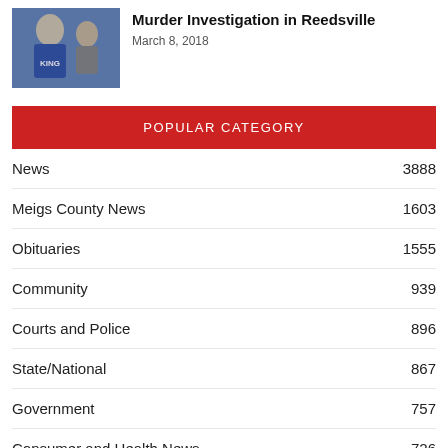[Figure (photo): Thumbnail photo of a person wearing a blue KING sweatshirt]
Murder Investigation in Reedsville
March 8, 2018
POPULAR CATEGORY
News  3888
Meigs County News  1603
Obituaries  1555
Community  939
Courts and Police  896
State/National  867
Government  757
Consumer and Health News  726